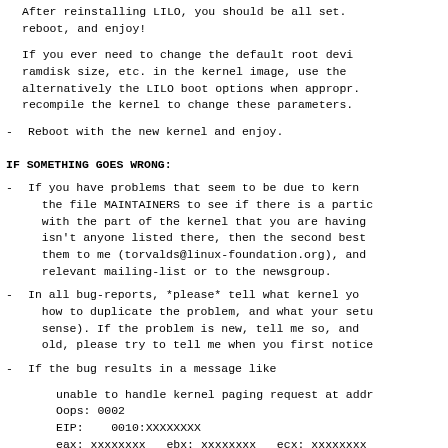After reinstalling LILO, you should be all set.
reboot, and enjoy!
If you ever need to change the default root device,
ramdisk size, etc.  in the kernel image, use the
alternatively the LILO boot options when appropriate.
recompile the kernel to change these parameters.
Reboot with the new kernel and enjoy.
IF SOMETHING GOES WRONG:
If you have problems that seem to be due to kernel
the file MAINTAINERS to see if there is a particular
with the part of the kernel that you are having
isn't anyone listed there, then the second best
them to me (torvalds@linux-foundation.org), and
relevant mailing-list or to the newsgroup.
In all bug-reports, *please* tell what kernel you
how to duplicate the problem, and what your setup
sense).  If the problem is new, tell me so, and
old, please try to tell me when you first noticed
If the bug results in a message like
unable to handle kernel paging request at address
Oops: 0002
EIP:    0010:XXXXXXXX
eax: xxxxxxxx   ebx: xxxxxxxx   ecx: xxxxxxxx